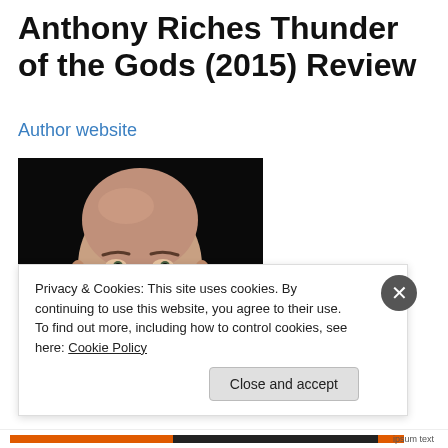Anthony Riches Thunder of the Gods (2015) Review
Author website
[Figure (photo): Black and white portrait photo of a bald man with an intense expression, wearing a dark suit, against a dark background — author Anthony Riches.]
Privacy & Cookies: This site uses cookies. By continuing to use this website, you agree to their use.
To find out more, including how to control cookies, see here: Cookie Policy
Close and accept